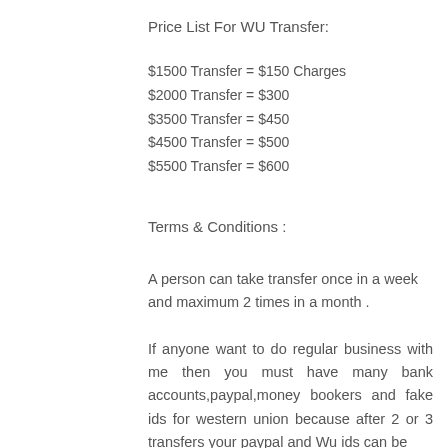Price List For WU Transfer:
$1500 Transfer = $150 Charges
$2000 Transfer = $300
$3500 Transfer = $450
$4500 Transfer = $500
$5500 Transfer = $600
Terms & Conditions :
A person can take transfer once in a week and maximum 2 times in a month .
If anyone want to do regular business with me then you must have many bank accounts,paypal,money bookers and fake ids for western union because after 2 or 3 transfers your paypal and Wu ids can be